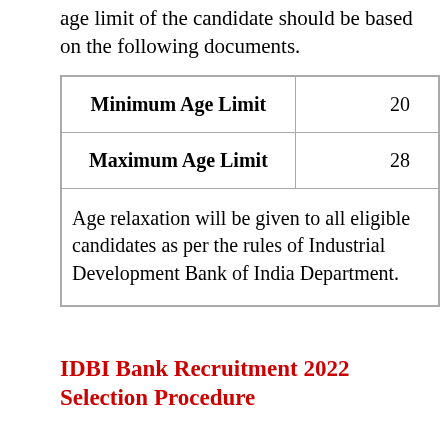age limit of the candidate should be based on the following documents.
|  |  |
| --- | --- |
| Minimum Age Limit | 20 |
| Maximum Age Limit | 28 |
Age relaxation will be given to all eligible candidates as per the rules of Industrial Development Bank of India Department.
IDBI Bank Recruitment 2022 Selection Procedure